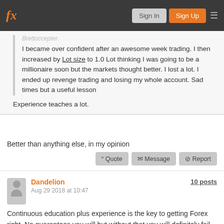fx | Sign In | Sign Up
I became over confident after an awesome week trading. I then increased by Lot size to 1.0 Lot thinking I was going to be a millionaire soon but the markets thought better. I lost a lot. I ended up revenge trading and losing my whole account. Sad times but a useful lesson
Experience teaches a lot.
Better than anything else, in my opinion
Quote | Message | Report
Dandelion
Aug 29 2018 at 10:47
10 posts
Continuous education plus experience is the key to getting Forex right. No guarantees you will but without that you will definitely fail
Quote | Message | Report